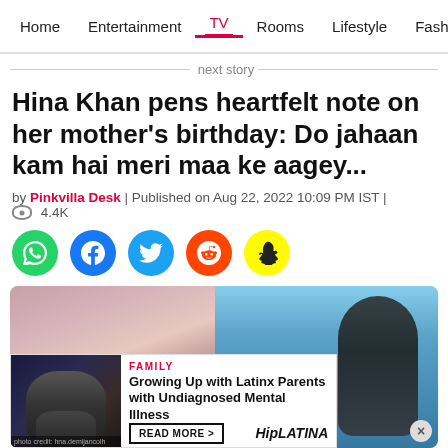Home | Entertainment | TV | Rooms | Lifestyle | Fashio
next story
Hina Khan pens heartfelt note on her mother's birthday: Do jahaan kam hai meri maa ke aagey...
by Pinkvilla Desk | Published on Aug 22, 2022 10:09 PM IST | ⊙ 4.4K
[Figure (infographic): Social media sharing icons: WhatsApp (green), Facebook (blue), Twitter (light blue), Reddit (orange-red), Snapchat (yellow)]
[Figure (photo): Split photo: left side shows a closeup of a woman's face with pink hair visible, right side shows an older woman with sunglasses against a blue sky. An advertisement overlay at bottom shows a mother and child embracing, with text FAMILY / Growing Up with Latinx Parents with Undiagnosed Mental Illness, READ MORE >, HipLATINA branding, and a close X button.]